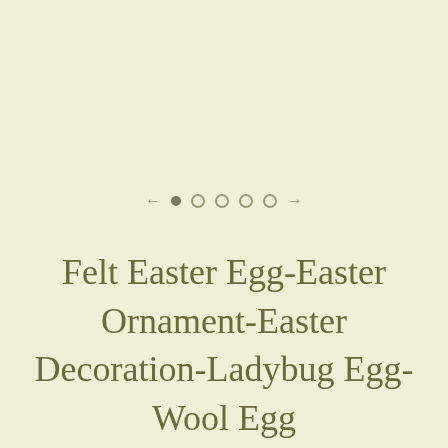[Figure (other): Image carousel navigation with one filled dot and four empty dots, flanked by left and right arrows]
Felt Easter Egg-Easter Ornament-Easter Decoration-Ladybug Egg-Wool Egg
$11.00